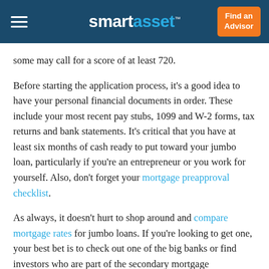smartasset™  Find an Advisor
some may call for a score of at least 720.
Before starting the application process, it's a good idea to have your personal financial documents in order. These include your most recent pay stubs, 1099 and W-2 forms, tax returns and bank statements. It's critical that you have at least six months of cash ready to put toward your jumbo loan, particularly if you're an entrepreneur or you work for yourself. Also, don't forget your mortgage preapproval checklist.
As always, it doesn't hurt to shop around and compare mortgage rates for jumbo loans. If you're looking to get one, your best bet is to check out one of the big banks or find investors who are part of the secondary mortgage